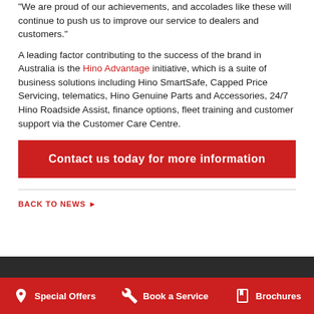"We are proud of our achievements, and accolades like these will continue to push us to improve our service to dealers and customers."
A leading factor contributing to the success of the brand in Australia is the Hino Advantage initiative, which is a suite of business solutions including Hino SmartSafe, Capped Price Servicing, telematics, Hino Genuine Parts and Accessories, 24/7 Hino Roadside Assist, finance options, fleet training and customer support via the Customer Care Centre.
Contact us today for more information
BACK TO NEWS ▶
Special Offers
Book a Service
Brochures